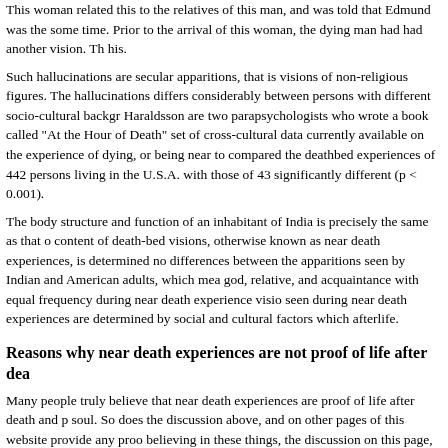This woman related this to the relatives of this man, and was told that Edmund was the some time. Prior to the arrival of this woman, the dying man had had another vision. Th his.
Such hallucinations are secular apparitions, that is visions of non-religious figures. The hallucinations differs considerably between persons with different socio-cultural backgr Haraldsson are two parapsychologists who wrote a book called "At the Hour of Death" set of cross-cultural data currently available on the experience of dying, or being near to compared the deathbed experiences of 442 persons living in the U.S.A. with those of 43 significantly different (p < 0.001).
The body structure and function of an inhabitant of India is precisely the same as that o content of death-bed visions, otherwise known as near death experiences, is determined no differences between the apparitions seen by Indian and American adults, which mea god, relative, and acquaintance with equal frequency during near death experience visio seen during near death experiences are determined by social and cultural factors which afterlife.
Reasons why near death experiences are not proof of life after dea
Many people truly believe that near death experiences are proof of life after death and p soul. So does the discussion above, and on other pages of this website provide any proo believing in these things, the discussion on this page, as well as on other pages of this w disproving these beliefs. I will list these reasons for clarity.
People expecting to undergo a life-threatening experience undergo different nea unexpected life-threatening experience. This is inconsistent with the belief in a l
People of different religions see different gods and holy figures during their nea belief in a life after death which is the same for all people.